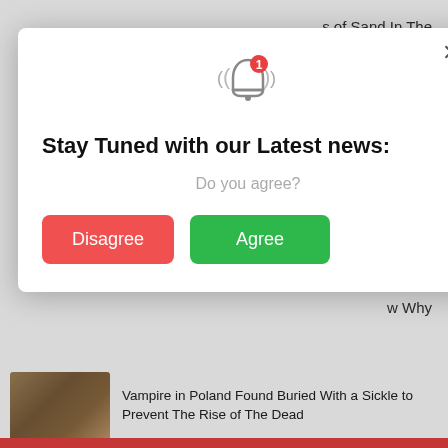s of Sand In The
Keep Symbiotes Safe
ntortions
he Side of Their
w Why
[Figure (screenshot): Notification consent modal popup with bell icon, title 'Stay Tuned with our Latest news:', subtitle 'Do you agree?', Disagree button (red) and Agree button (green), with X close button]
Vampire in Poland Found Buried With a Sickle to Prevent The Rise of The Dead
Amazing New Footage of The Titanic Is The Highest Quality We've Ever Seen
Humpback Whales Almost 9,000 Miles Apart Have Been Caught Singing The Same Song